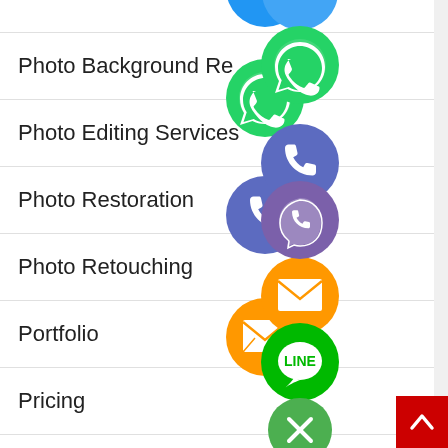Photo Background Re…
Photo Editing Services
Photo Restoration
Photo Retouching
Portfolio
Pricing
Qatar Phone Number
Raster to Vector Conversion
[Figure (infographic): Social media contact icons stacked vertically: WhatsApp (green), Phone/Viber (blue/purple), Email (orange), LINE (green), Viber (purple), Close/X (green). Plus a red back-to-top button.]